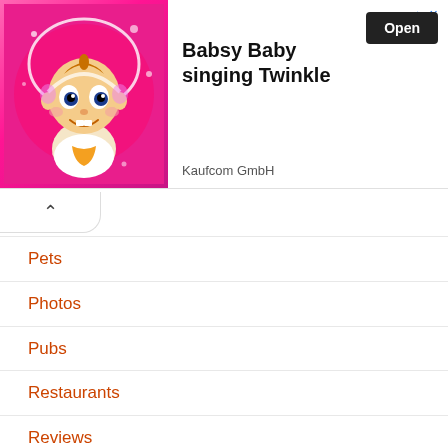[Figure (screenshot): Advertisement banner for 'Babsy Baby singing Twinkle' by Kaufcom GmbH, showing a cartoon baby with a heart halo on a pink sparkly background, with an 'Open' button and navigation controls.]
Pets
Photos
Pubs
Restaurants
Reviews
Romance
Shopping
Sport
Students
Summer